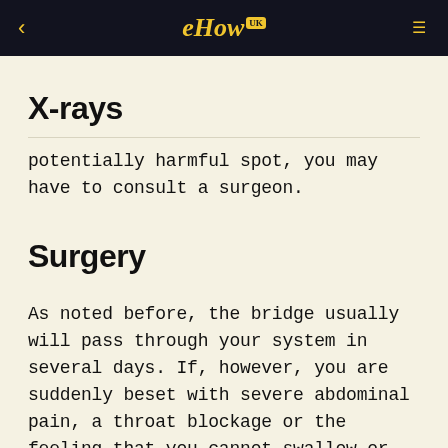eHow UK
X-rays
potentially harmful spot, you may have to consult a surgeon.
Surgery
As noted before, the bridge usually will pass through your system in several days. If, however, you are suddenly beset with severe abdominal pain, a throat blockage or the feeling that you cannot swallow or breathe, head for an emergency room. Although such